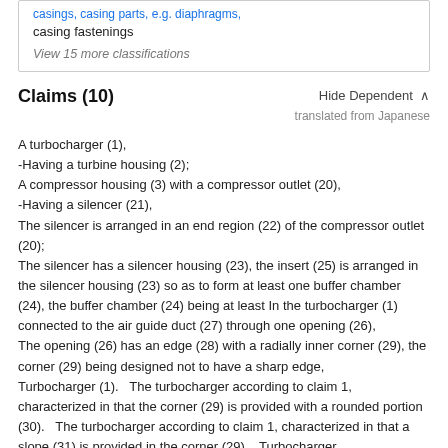casings, casing parts, e.g. diaphragms, casing fastenings
View 15 more classifications
Claims (10)
Hide Dependent ^
translated from Japanese
A turbocharger (1),
-Having a turbine housing (2);
A compressor housing (3) with a compressor outlet (20),
-Having a silencer (21),
The silencer is arranged in an end region (22) of the compressor outlet (20);
The silencer has a silencer housing (23), the insert (25) is arranged in the silencer housing (23) so as to form at least one buffer chamber (24), the buffer chamber (24) being at least In the turbocharger (1) connected to the air guide duct (27) through one opening (26),
The opening (26) has an edge (28) with a radially inner corner (29), the corner (29) being designed not to have a sharp edge,
Turbocharger (1).   The turbocharger according to claim 1, characterized in that the corner (29) is provided with a rounded portion (30).   The turbocharger according to claim 1, characterized in that a slope (31) is provided in the corner (29).   Turbocharger